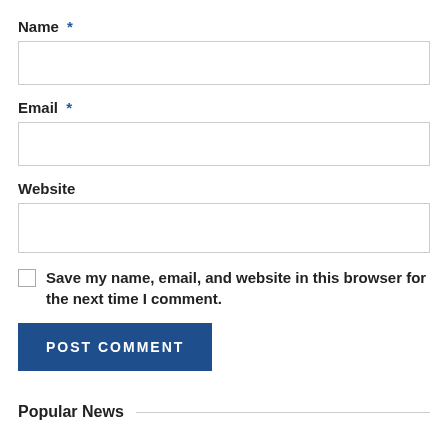Name *
[Figure (other): Empty text input field for Name]
Email *
[Figure (other): Empty text input field for Email]
Website
[Figure (other): Empty text input field for Website]
Save my name, email, and website in this browser for the next time I comment.
POST COMMENT
Popular News